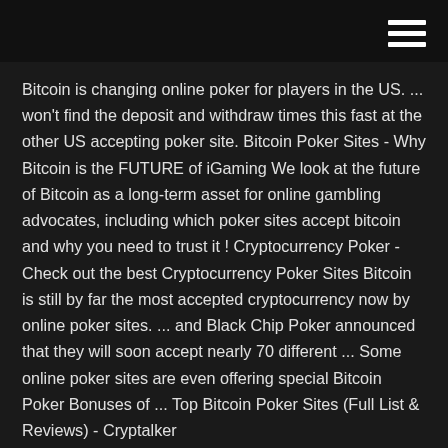Bitcoin is changing online poker for players in the US. ... won't find the deposit and withdraw times this fast at the other US accepting poker site. Bitcoin Poker Sites - Why Bitcoin is the FUTURE of iGaming We look at the future of Bitcoin as a long-term asset for online gambling advocates, including which poker sites accept bitcoin and why you need to trust it ! Cryptocurrency Poker - Check out the best Cryptocurrency Poker Sites Bitcoin is still by far the most accepted cryptocurrency now by online poker sites. ... and Black Chip Poker announced that they will soon accept nearly 70 different ... Some online poker sites are even offering special Bitcoin Poker Bonuses of ... Top Bitcoin Poker Sites (Full List & Reviews) - Cryptalker